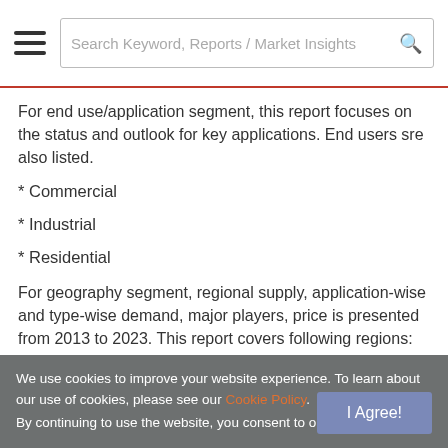Search Keyword, Reports / Market Insights
For end use/application segment, this report focuses on the status and outlook for key applications. End users sre also listed.
* Commercial
* Industrial
* Residential
For geography segment, regional supply, application-wise and type-wise demand, major players, price is presented from 2013 to 2023. This report covers following regions:
We use cookies to improve your website experience. To learn about our use of cookies, please see our Cookie Policy. By continuing to use the website, you consent to our use of cookies.